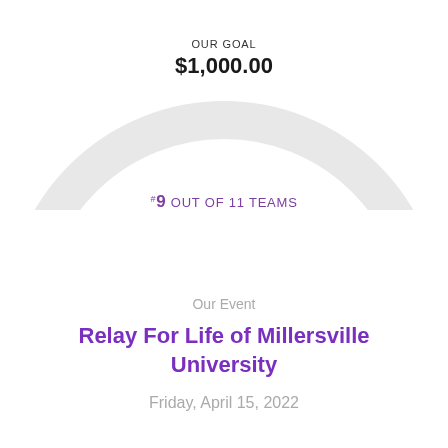[Figure (donut-chart): Partial donut/ring chart showing fundraising progress toward a $1,000.00 goal. The ring is light gray, partially cropped at top of page. Center text shows OUR GOAL and $1,000.00.]
OUR GOAL
$1,000.00
#9 OUT OF 11 TEAMS
Our Event
Relay For Life of Millersville University
Friday, April 15, 2022